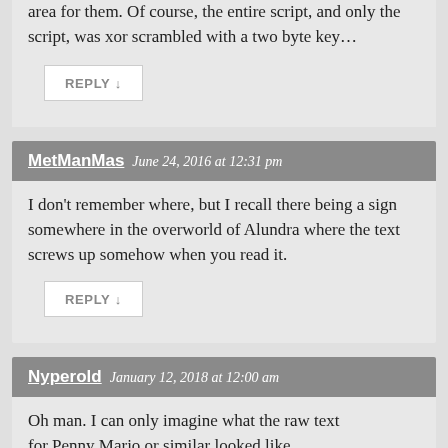area for them. Of course, the entire script, and only the script, was xor scrambled with a two byte key…
REPLY ↓
MetManMas  June 24, 2016 at 12:31 pm
I don't remember where, but I recall there being a sign somewhere in the overworld of Alundra where the text screws up somehow when you read it.
REPLY ↓
Nyperold  January 12, 2018 at 12:00 am
Oh man. I can only imagine what the raw text for Penny Mario or similar looked like...